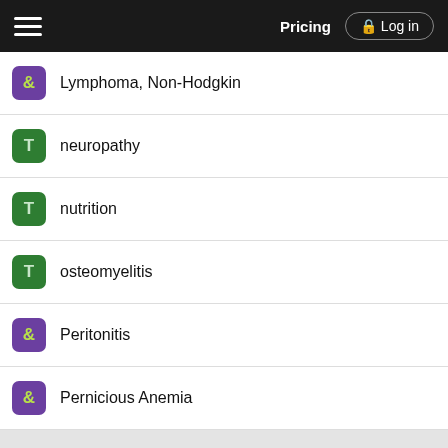Pricing | Log in
Lymphoma, Non-Hodgkin
neuropathy
nutrition
osteomyelitis
Peritonitis
Pernicious Anemia
Want to read the entire topic?
Purchase a subscription
I'm already a subscriber
Browse sample topics